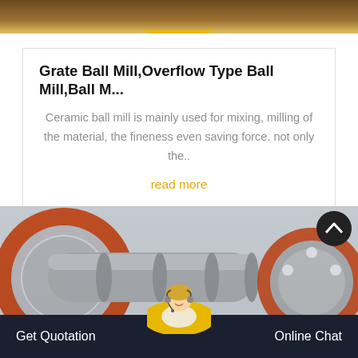[Figure (photo): Top portion of industrial machinery product image with yellow chevron decoration at bottom]
Grate Ball Mill,Overflow Type Ball Mill,Ball M...
Ceramic ball mill is mainly used for mixing, milling of the material, the fineness even saving force. not only the..
read more
[Figure (photo): Industrial ball mill machinery with large gray cylinders and red gear rings in a factory setting]
Get Quotation    Online Chat